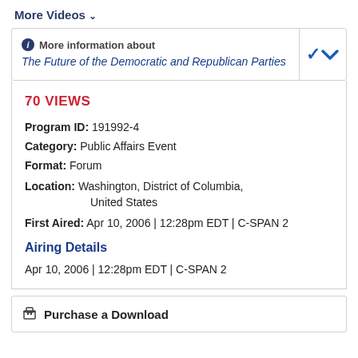More Videos ▾
More information about The Future of the Democratic and Republican Parties
70 VIEWS
Program ID: 191992-4
Category: Public Affairs Event
Format: Forum
Location: Washington, District of Columbia, United States
First Aired: Apr 10, 2006 | 12:28pm EDT | C-SPAN 2
Airing Details
Apr 10, 2006 | 12:28pm EDT | C-SPAN 2
Purchase a Download